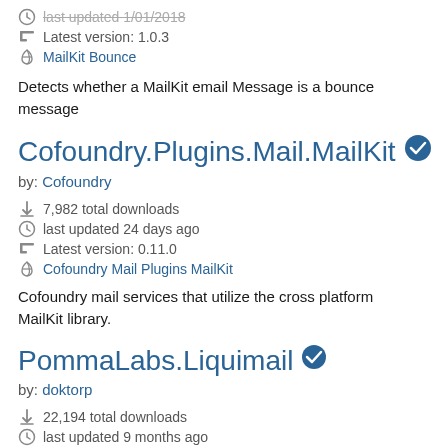last updated 1/01/2018
Latest version: 1.0.3
MailKit Bounce
Detects whether a MailKit email Message is a bounce message
Cofoundry.Plugins.Mail.MailKit
by: Cofoundry
7,982 total downloads
last updated 24 days ago
Latest version: 0.11.0
Cofoundry Mail Plugins MailKit
Cofoundry mail services that utilize the cross platform MailKit library.
PommaLabs.Liquimail
by: doktorp
22,194 total downloads
last updated 9 months ago